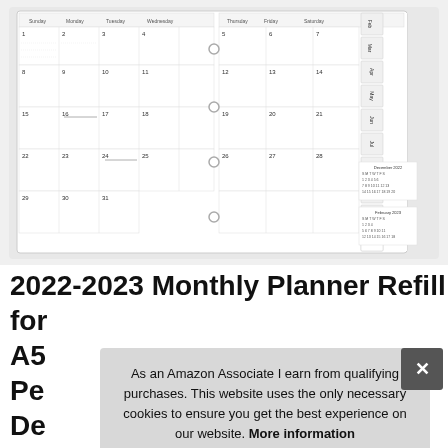[Figure (other): A weekly/monthly planner refill product photo showing a two-page spread with calendar grid, ring binder holes in the center, and month tab indices on the right side. Small reference calendars for December 2022 and February 2023 are visible in the lower right.]
2022-2023 Monthly Planner Refill for A5... Pe... De...
As an Amazon Associate I earn from qualifying purchases. This website uses the only necessary cookies to ensure you get the best experience on our website. More information